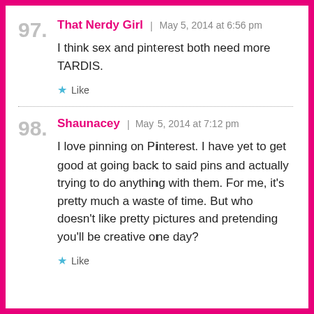97. That Nerdy Girl | May 5, 2014 at 6:56 pm
I think sex and pinterest both need more TARDIS.
★ Like
98. Shaunacey | May 5, 2014 at 7:12 pm
I love pinning on Pinterest. I have yet to get good at going back to said pins and actually trying to do anything with them. For me, it's pretty much a waste of time. But who doesn't like pretty pictures and pretending you'll be creative one day?
★ Like